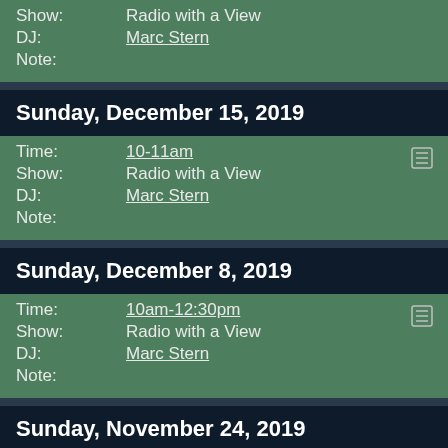Show: Radio with a View
DJ: Marc Stern
Note:
Sunday, December 15, 2019
Time: 10-11am
Show: Radio with a View
DJ: Marc Stern
Note:
Sunday, December 8, 2019
Time: 10am-12:30pm
Show: Radio with a View
DJ: Marc Stern
Note:
Sunday, November 24, 2019
Time: 10-11am
Show: Radio with a View